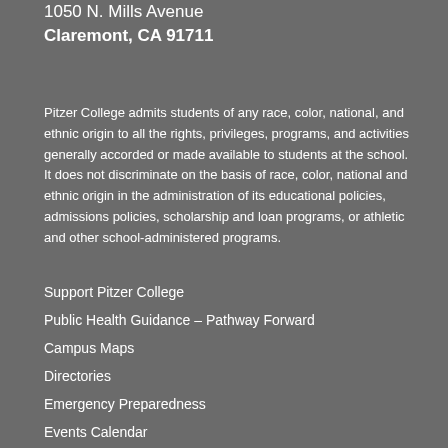1050 N. Mills Avenue
Claremont, CA 91711
Pitzer College admits students of any race, color, national, and ethnic origin to all the rights, privileges, programs, and activities generally accorded or made available to students at the school. It does not discriminate on the basis of race, color, national and ethnic origin in the administration of its educational policies, admissions policies, scholarship and loan programs, or athletic and other school-administered programs.
Support Pitzer College
Public Health Guidance – Pathway Forward
Campus Maps
Directories
Emergency Preparedness
Events Calendar
Human Resources
Faculty Resources